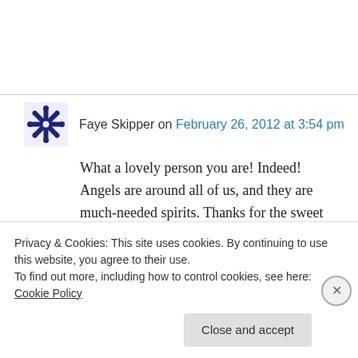Faye Skipper on February 26, 2012 at 3:54 pm
What a lovely person you are! Indeed! Angels are around all of us, and they are much-needed spirits. Thanks for the sweet article and for your sacrifices!
★ Like
↳ Reply
Privacy & Cookies: This site uses cookies. By continuing to use this website, you agree to their use. To find out more, including how to control cookies, see here: Cookie Policy